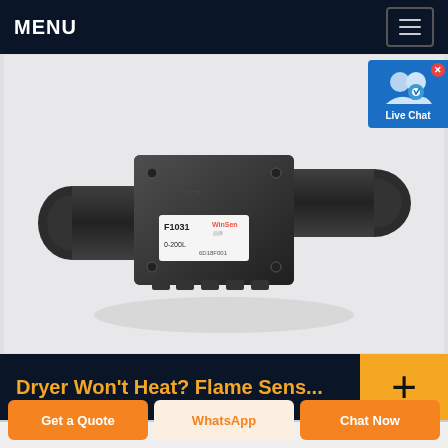MENU
[Figure (photo): Black industrial flow sensor component labeled F1031, model 0-200L, with two cylindrical pipe connectors on left and right sides and a rectangular electronic module on top with a WinSen brand label.]
Dryer Won't Heat? Flame Sens...
Get a Quote
WhatsApp
Chat Now